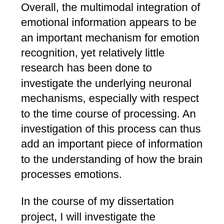Overall, the multimodal integration of emotional information appears to be an important mechanism for emotion recognition, yet relatively little research has been done to investigate the underlying neuronal mechanisms, especially with respect to the time course of processing. An investigation of this process can thus add an important piece of information to the understanding of how the brain processes emotions.
In the course of my dissertation project, I will investigate the integration of emotional body language with emotional information from speech, mainly interjections, and facial expressions. As the overarching aim of the project is to learn more about emotion perception under natural circumstances, I use complex, moving stimuli to approximate ecologically valid situations as close as possible. I plan to investigate the integration process on a neuropsychological level, using mainly event-related potentials (ERPs), but also behavioral data, in order to gain more information about the time course underlying